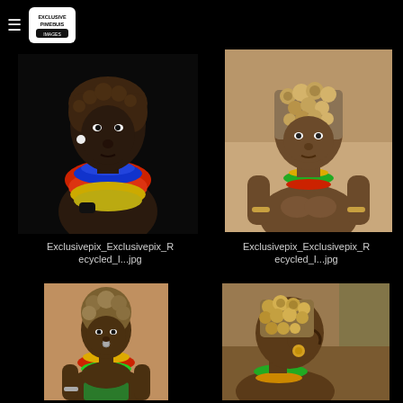≡ Exclusivepix logo
[Figure (photo): Portrait of an African woman with colorful beaded necklaces and black wrist cuff, dark background]
[Figure (photo): Portrait of an African child with decorative headdress made of nuts/shells and colorful beaded necklace, sandy background]
Exclusivepix_Exclusivepix_Recycled_I...jpg
Exclusivepix_Exclusivepix_Recycled_I...jpg
[Figure (photo): African woman with floral headdress and colorful beaded necklaces, outdoors]
[Figure (photo): Profile portrait of African woman with decorative headdress made of nuts/shells, earring visible]